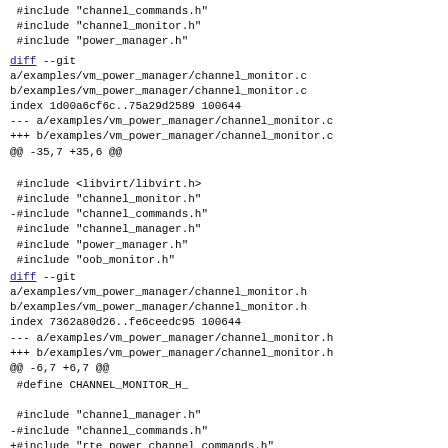#include "channel_commands.h"
 #include "channel_monitor.h"
 #include "power_manager.h"
diff --git a/examples/vm_power_manager/channel_monitor.c b/examples/vm_power_manager/channel_monitor.c
index 1d00a6cf6c..75a29d2589 100644
--- a/examples/vm_power_manager/channel_monitor.c
+++ b/examples/vm_power_manager/channel_monitor.c
@@ -35,7 +35,6 @@
#include <libvirt/libvirt.h>
 #include "channel_monitor.h"
-#include "channel_commands.h"
 #include "channel_manager.h"
 #include "power_manager.h"
 #include "oob_monitor.h"
diff --git a/examples/vm_power_manager/channel_monitor.h b/examples/vm_power_manager/channel_monitor.h
index 7362a80d26..fe6ceedc95 100644
--- a/examples/vm_power_manager/channel_monitor.h
+++ b/examples/vm_power_manager/channel_monitor.h
@@ -6,7 +6,7 @@
#define CHANNEL_MONITOR_H_

 #include "channel_manager.h"
-#include "channel_commands.h"
+#include "rte_power_channel_commands.h"